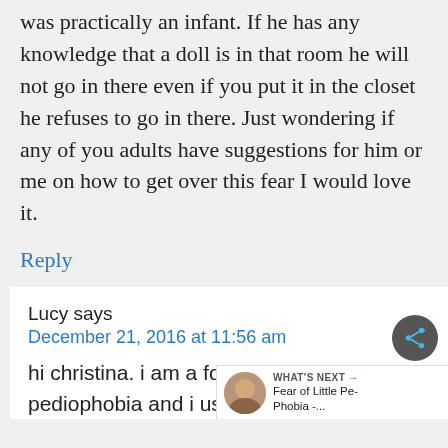was practically an infant. If he has any knowledge that a doll is in that room he will not go in there even if you put it in the closet he refuses to go in there. Just wondering if any of you adults have suggestions for him or me on how to get over this fear I would love it.
Reply
Lucy says
December 21, 2016 at 11:56 am
hi christina. i am a former sufferer of pediophobia and i used to have the